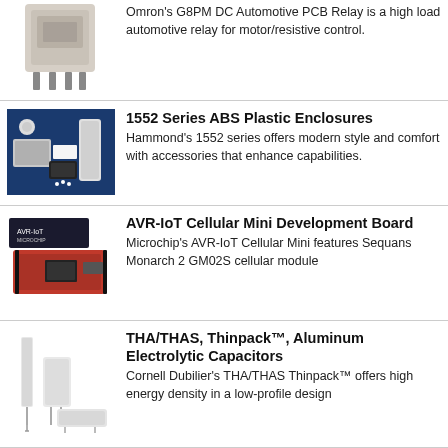Omron's G8PM DC Automotive PCB Relay is a high load automotive relay for motor/resistive control.
1552 Series ABS Plastic Enclosures
Hammond's 1552 series offers modern style and comfort with accessories that enhance capabilities.
AVR-IoT Cellular Mini Development Board
Microchip's AVR-IoT Cellular Mini features Sequans Monarch 2 GM02S cellular module
THA/THAS, Thinpack™, Aluminum Electrolytic Capacitors
Cornell Dubilier's THA/THAS Thinpack™ offers high energy density in a low-profile design
K78 Series Non-Isolated DC/DC